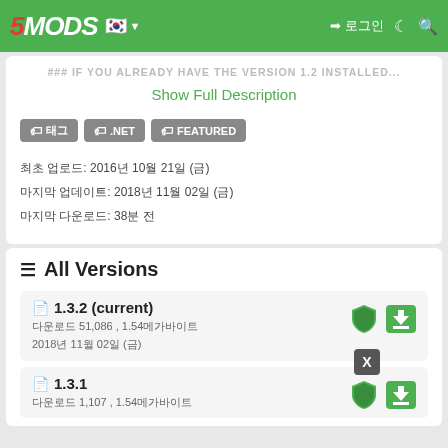5MODS navigation bar with Korean flag and login icons
### IF YOU ALREADY HAVE THE VERSION 1.2 INSTALLED...
Show Full Description
태그
.NET
FEATURED
최초 업로드: 2016년 10월 21일 (금)
마지막 업데이트: 2018년 11월 02일 (금)
마지막 다운로드: 38분 전
All Versions
1.3.2 (current)
다운로드 51,086 , 1.54메가바이트
2018년 11월 02일 (금)
1.3.1
다운로드 1,107 , 1.54메가바이트